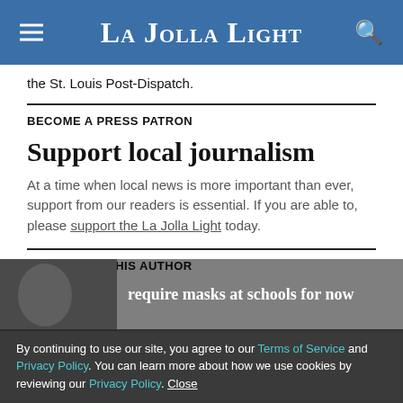La Jolla Light
the St. Louis Post-Dispatch.
BECOME A PRESS PATRON
Support local journalism
At a time when local news is more important than ever, support from our readers is essential. If you are able to, please support the La Jolla Light today.
MORE FROM THIS AUTHOR
By continuing to use our site, you agree to our Terms of Service and Privacy Policy. You can learn more about how we use cookies by reviewing our Privacy Policy. Close
require masks at schools for now